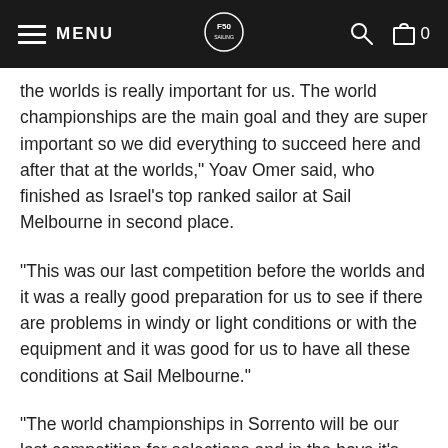MENU | [logo] | [search] [cart] 0
the worlds is really important for us. The world championships are the main goal and they are super important so we did everything to succeed here and after that at the worlds," Yoav Omer said, who finished as Israel's top ranked sailor at Sail Melbourne in second place.
“This was our last competition before the worlds and it was a really good preparation for us to see if there are problems in windy or light conditions or with the equipment and it was good for us to have all these conditions at Sail Melbourne.”
“The world championships in Sorrento will be our last competition for selections and in the boys it’s really close. After the worlds the federation will decide who will go to the Olympic Games and I hope to be there. I really believe in